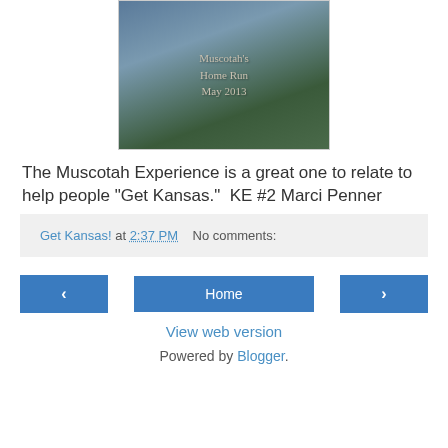[Figure (photo): Hands holding a stone or concrete slab with text 'Muscotah's Home Run May 2013' carved or written on it. Colorful clothing visible including blue jeans and a yellow sleeve.]
The Muscotah Experience is a great one to relate to help people "Get Kansas."  KE #2 Marci Penner
Get Kansas! at 2:37 PM   No comments:
‹  Home  ›
View web version
Powered by Blogger.